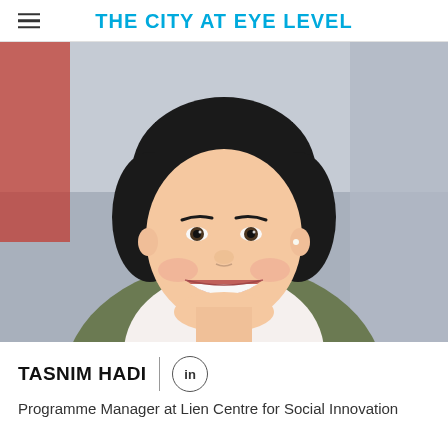THE CITY AT EYE LEVEL
[Figure (photo): Portrait photo of Tasnim Hadi, a young Asian woman with a short black bob haircut, smiling broadly, wearing a white floral top and an olive green jacket, photographed outdoors with a blurred background]
TASNIM HADI
Programme Manager at Lien Centre for Social Innovation